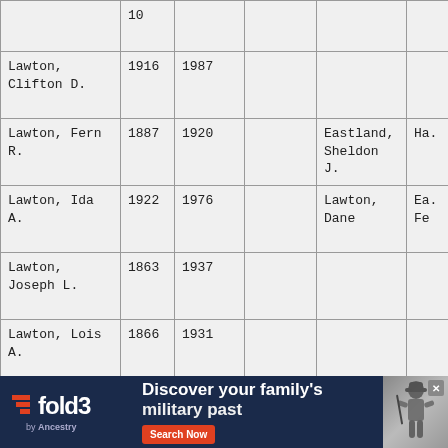| Name | Birth Year | Death / Date | Age | Father | Mother |
| --- | --- | --- | --- | --- | --- |
|  | 10 |  |  |  |  |
| Lawton, Clifton D. | 1916 | 1987 |  |  |  |
| Lawton, Fern R. | 1887 | 1920 |  | Eastland, Sheldon J. | Ha. |
| Lawton, Ida A. | 1922 | 1976 |  | Lawton, Dane | Ea. Fe |
| Lawton, Joseph L. | 1863 | 1937 |  |  |  |
| Lawton, Lois A. | 1866 | 1931 |  |  |  |
| Letson, Olive B. | 1880 | 1948 |  |  |  |
| Lewis, Hiram |  | 1873 May 23 | 28y 3m 23d |  |  |
| Lewis, Pluma G. | 1858 | 1940 |  |  |  |
| Like, Frankli |  |  |  | m. | Li |